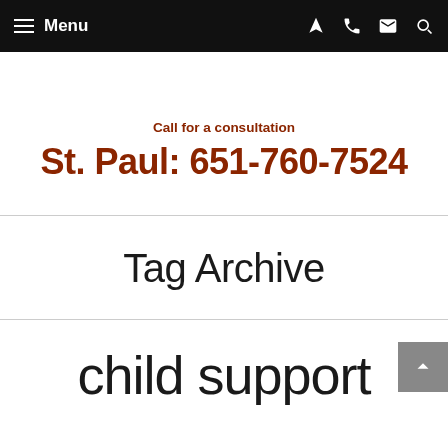Menu
Call for a consultation
St. Paul: 651-760-7524
Tag Archive
child support